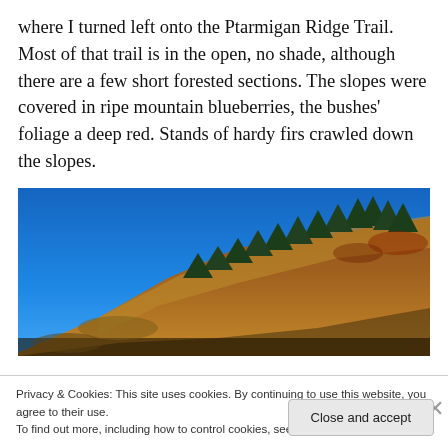where I turned left onto the Ptarmigan Ridge Trail. Most of that trail is in the open, no shade, although there are a few short forested sections. The slopes were covered in ripe mountain blueberries, the bushes' foliage a deep red. Stands of hardy firs crawled down the slopes.
[Figure (photo): A mountain hillside under a clear blue sky, with golden-brown grassy slopes and stands of dark green fir trees along the ridge line.]
Privacy & Cookies: This site uses cookies. By continuing to use this website, you agree to their use.
To find out more, including how to control cookies, see here: Cookie Policy